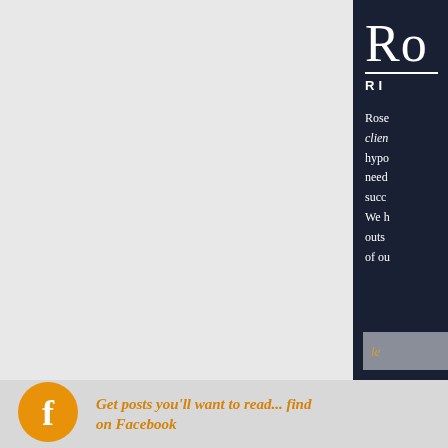[Figure (logo): Partial logo text 'RO' in large serif white letters on dark navy background, with 'RI' subtitle in spaced caps below a horizontal rule]
Rose clients hypnotherapy need success We help outside of our
[Figure (other): Gray button with italic orange text 'le' (learn more button, partially visible)]
[Figure (logo): Orange circular Facebook icon with white 'f' letter]
Get posts you'll want to read... find on Facebook